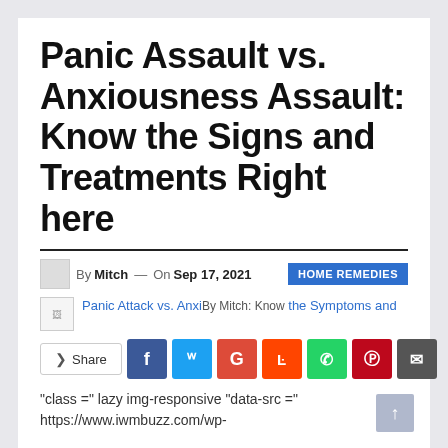Panic Assault vs. Anxiousness Assault: Know the Signs and Treatments Right here
By Mitch — On Sep 17, 2021   HOME REMEDIES
Panic Attack vs. Anxiety Attack: Know the Symptoms and
Share
"class =" lazy img-responsive "data-src ="
https://www.iwmbuzz.com/wp-